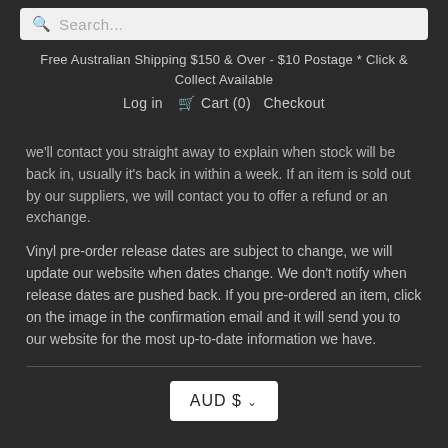Search...
Free Australian Shipping $150 & Over - $10 Postage * Click & Collect Available
Log in  Cart (0)  Checkout
we'll contact you straight away to explain when stock will be back in, usually it's back in within a week. If an item is sold out by our suppliers, we will contact you to offer a refund or an exchange.
Vinyl pre-order release dates are subject to change, we will update our website when dates change. We don't notify when release dates are pushed back. If you pre-ordered an item, click on the image in the confirmation email and it will send you to our website for the most up-to-date information we have.
AUD $